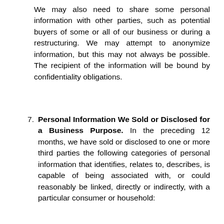We may also need to share some personal information with other parties, such as potential buyers of some or all of our business or during a restructuring. We may attempt to anonymize information, but this may not always be possible. The recipient of the information will be bound by confidentiality obligations.
7. Personal Information We Sold or Disclosed for a Business Purpose. In the preceding 12 months, we have sold or disclosed to one or more third parties the following categories of personal information that identifies, relates to, describes, is capable of being associated with, or could reasonably be linked, directly or indirectly, with a particular consumer or household: